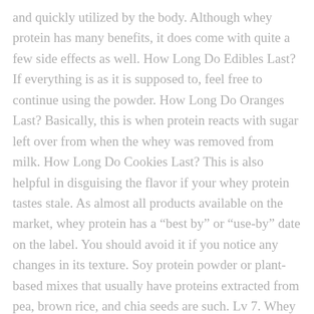and quickly utilized by the body. Although whey protein has many benefits, it does come with quite a few side effects as well. How Long Do Edibles Last? If everything is as it is supposed to, feel free to continue using the powder. How Long Do Oranges Last? Basically, this is when protein reacts with sugar left over from when the whey was removed from milk. How Long Do Cookies Last? This is also helpful in disguising the flavor if your whey protein tastes stale. As almost all products available on the market, whey protein has a “best by” or “use-by” date on the label. You should avoid it if you notice any changes in its texture. Soy protein powder or plant-based mixes that usually have proteins extracted from pea, brown rice, and chia seeds are such. Lv 7. Whey protein is a popular fitness and dietary supplement.. It’s made from whey, which is the liquid that separates from milk during the cheese-making process. Most whey protein supplements come in a big plastic jar that’s easy to open and seal tightly. Even as a dry powder, it can still go bad over time. The short answer is: stored under the right conditions, it is very likely